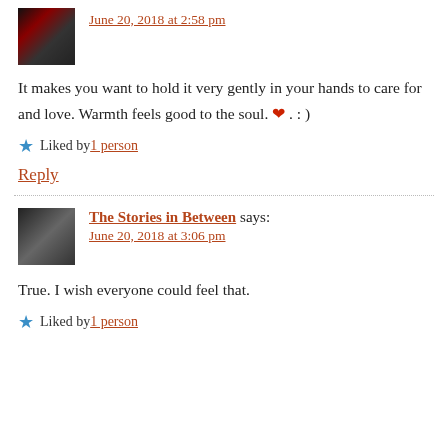June 20, 2018 at 2:58 pm
It makes you want to hold it very gently in your hands to care for and love. Warmth feels good to the soul. ❤ . : )
Liked by 1 person
Reply
The Stories in Between says: June 20, 2018 at 3:06 pm
True. I wish everyone could feel that.
Liked by 1 person